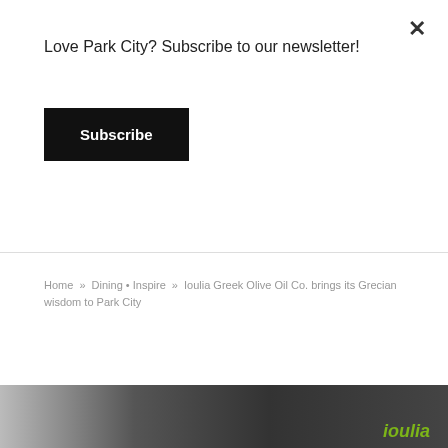Love Park City? Subscribe to our newsletter!
Subscribe
×
Home » Dining • Inspire » Ioulia Greek Olive Oil Co. brings its Grecian wisdom to Park City
[Figure (photo): Photo of Ioulia Greek Olive Oil products including dark bottles with labels and golden olive oil visible]